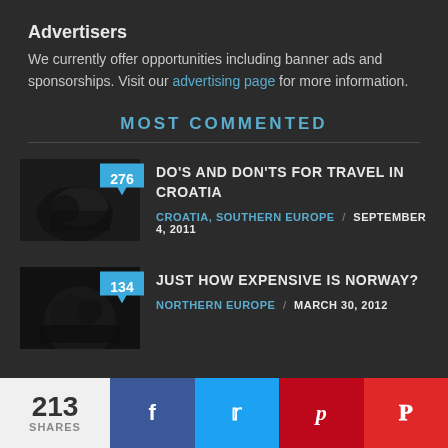Advertisers
We currently offer opportunities including banner ads and sponsorships. Visit our advertising page for more information.
MOST COMMENTED
276 DO'S AND DON'TS FOR TRAVEL IN CROATIA — CROATIA, SOUTHERN EUROPE / SEPTEMBER 4, 2011
134 JUST HOW EXPENSIVE IS NORWAY? — NORTHERN EUROPE / MARCH 30, 2012
213 SHARES